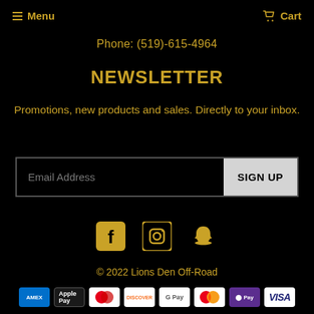Menu   Cart
Phone: (519)-615-4964
NEWSLETTER
Promotions, new products and sales. Directly to your inbox.
[Figure (other): Email Address input field with SIGN UP button]
[Figure (other): Social media icons: Facebook, Instagram, Snapchat]
© 2022 Lions Den Off-Road
[Figure (other): Payment method icons: Amex, Apple Pay, Diners, Discover, Google Pay, Mastercard, OPay, Visa]